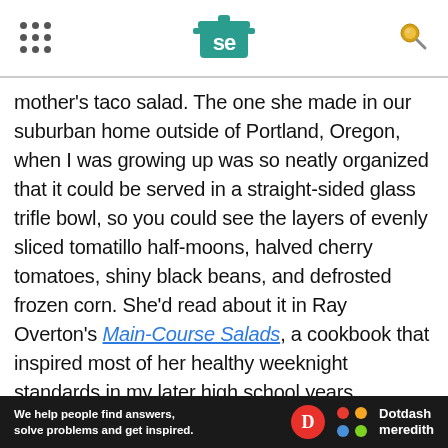Serious Eats - navigation header with logo
mother's taco salad. The one she made in our suburban home outside of Portland, Oregon, when I was growing up was so neatly organized that it could be served in a straight-sided glass trifle bowl, so you could see the layers of evenly sliced tomatillo half-moons, halved cherry tomatoes, shiny black beans, and defrosted frozen corn. She'd read about it in Ray Overton's Main-Course Salads, a cookbook that inspired most of her healthy weeknight standards in my later high school years.
[Figure (photo): Sponsored advertisement image - blurred food/kitchen photo with SPONSORED BY CAPITAL ONE label]
We help people find answers, solve problems and get inspired. Dotdash meredith